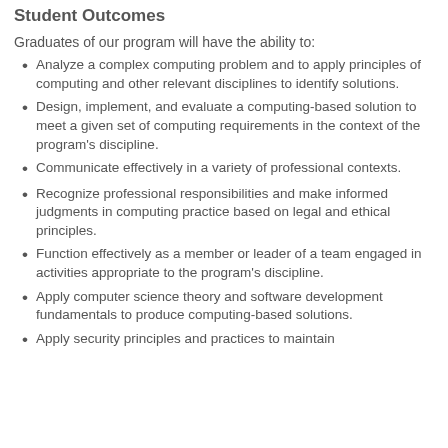Student Outcomes
Graduates of our program will have the ability to:
Analyze a complex computing problem and to apply principles of computing and other relevant disciplines to identify solutions.
Design, implement, and evaluate a computing-based solution to meet a given set of computing requirements in the context of the program's discipline.
Communicate effectively in a variety of professional contexts.
Recognize professional responsibilities and make informed judgments in computing practice based on legal and ethical principles.
Function effectively as a member or leader of a team engaged in activities appropriate to the program's discipline.
Apply computer science theory and software development fundamentals to produce computing-based solutions.
Apply security principles and practices to maintain